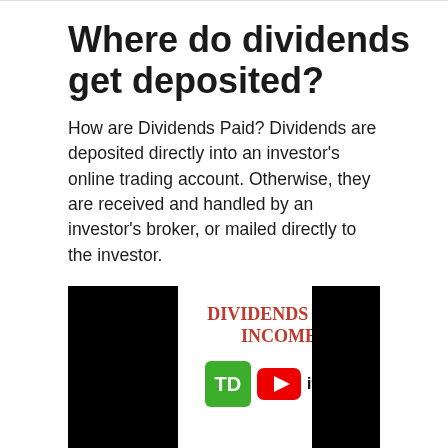Where do dividends get deposited?
How are Dividends Paid? Dividends are deposited directly into an investor’s online trading account. Otherwise, they are received and handled by an investor’s broker, or mailed directly to the investor.
[Figure (screenshot): Video thumbnail for 'Dividends for Income' featuring TD Ameritrade logo and YouTube play button on black background]